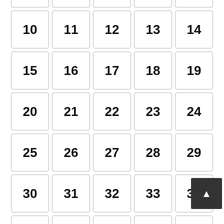[Figure (other): A grid of numbered cells from 5-9 (partial top row, cut off), then 10-54, arranged in a 5-column layout. Each number is displayed in a bordered square cell. A dark scroll-to-top button appears at the bottom right.]